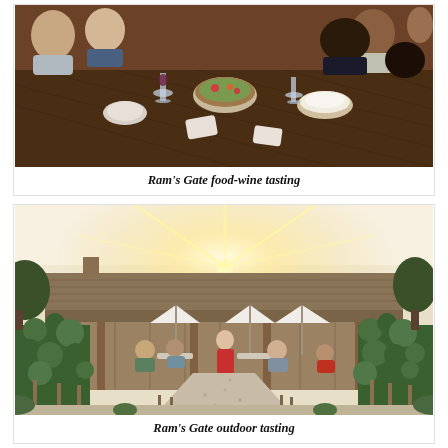[Figure (photo): People seated at a rustic wooden table sharing a food and wine tasting experience, with wine glasses, bowls of food, and salads visible on the table.]
Ram's Gate food-wine tasting
[Figure (photo): Exterior view of Ram's Gate winery at golden hour, with sunburst over the roofline, a gravel path lined with grapevines, white patio umbrellas, and guests seated outdoors. A woman in a red dress stands in the center.]
Ram's Gate outdoor tasting